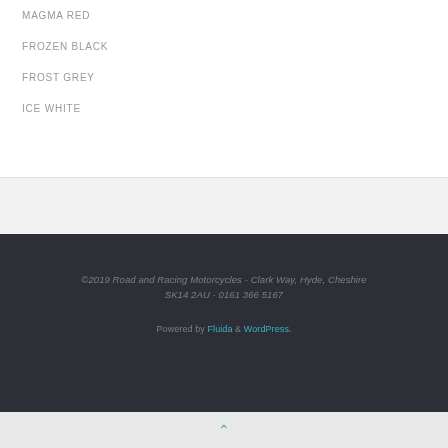MAGMA RED
FROZEN BLACK
FROST GREY
ICE WHITE
©2019 Road and Racing Motorcycles - Clark Way, Hyde, Cheshire SK14 2AU - 0161 366 5167
Powered by Fluida & WordPress.